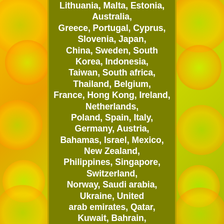Lithuania, Malta, Estonia, Australia, Greece, Portugal, Cyprus, Slovenia, Japan, China, Sweden, South Korea, Indonesia, Taiwan, South africa, Thailand, Belgium, France, Hong Kong, Ireland, Netherlands, Poland, Spain, Italy, Germany, Austria, Bahamas, Israel, Mexico, New Zealand, Philippines, Singapore, Switzerland, Norway, Saudi arabia, Ukraine, United arab emirates, Qatar, Kuwait, Bahrain, Croatia, Malaysia, Brazil, Chile, Colombia, Costa rica, Dominican republic, Panama, Trinidad and tobago, Guatemala, El salvador, Honduras, Jamaica, Antigua and barbuda, Aruba, Belize, Dominica, Grenada, Saint kitts and nevis, Saint lucia, Montserrat, Turks and caicos islands, Barbados, Bangladesh, Bermuda, Brunei darussalam, Bolivia, Ecuador, Egypt, French guiana, Guernsey, Gibraltar, Guadeloupe, Iceland, Jersey, Jordan, Cambodia, Cayman islands, Liechtenstein,